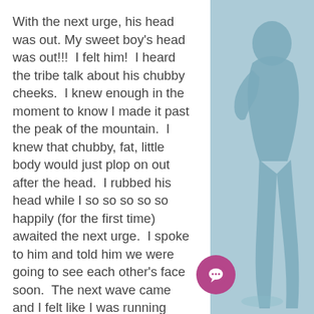With the next urge, his head was out. My sweet boy's head was out!!!  I felt him!  I heard the tribe talk about his chubby cheeks.  I knew enough in the moment to know I made it past the peak of the mountain.  I knew that chubby, fat, little body would just plop on out after the head.  I rubbed his head while I so so so so so happily (for the first time) awaited the next urge.  I spoke to him and told him we were going to see each other's face soon.  The next wave came and I felt like I was running through a field.  I curled down and grabbed him up and into my arms.  He and I and Dada just looked into each other's eyes.  He looked at me and his face asked me "What happened?"
[Figure (illustration): Blue-tinted silhouette of a person on the right side of the page, with a light blue background and faint outdoor scenery]